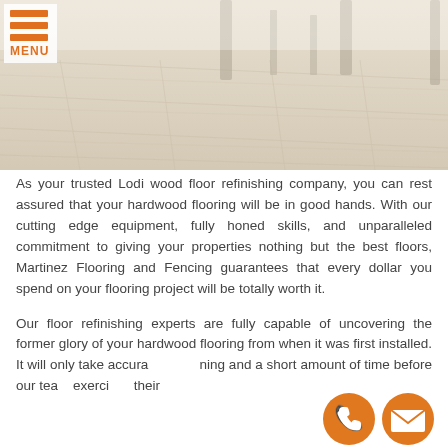[Figure (photo): Light wood plank floor with table and chair legs visible, bright and airy room setting]
[Figure (logo): Orange hamburger menu icon with three horizontal bars and MENU text below]
As your trusted Lodi wood floor refinishing company, you can rest assured that your hardwood flooring will be in good hands. With our cutting edge equipment, fully honed skills, and unparalleled commitment to giving your properties nothing but the best floors, Martinez Flooring and Fencing guarantees that every dollar you spend on your flooring project will be totally worth it.
Our floor refinishing experts are fully capable of uncovering the former glory of your hardwood flooring from when it was first installed. It will only take accurate planning and a short amount of time before our team exercises their
[Figure (illustration): Orange circular phone call icon]
[Figure (illustration): Orange circular email/envelope icon]